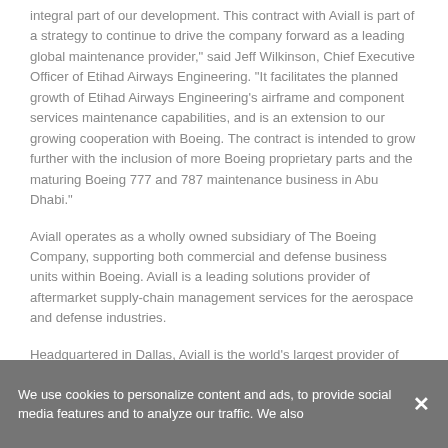integral part of our development. This contract with Aviall is part of a strategy to continue to drive the company forward as a leading global maintenance provider," said Jeff Wilkinson, Chief Executive Officer of Etihad Airways Engineering. "It facilitates the planned growth of Etihad Airways Engineering's airframe and component services maintenance capabilities, and is an extension to our growing cooperation with Boeing. The contract is intended to grow further with the inclusion of more Boeing proprietary parts and the maturing Boeing 777 and 787 maintenance business in Abu Dhabi."
Aviall operates as a wholly owned subsidiary of The Boeing Company, supporting both commercial and defense business units within Boeing. Aviall is a leading solutions provider of aftermarket supply-chain management services for the aerospace and defense industries.
Headquartered in Dallas, Aviall is the world's largest provider of new aviation parts and related aftermarket services. The company markets and distributes products for more than 240 manufacturers and offers approximately 2 million catalog items from 40 customer service centers in North America, Europe and
We use cookies to personalize content and ads, to provide social media features and to analyze our traffic. We also